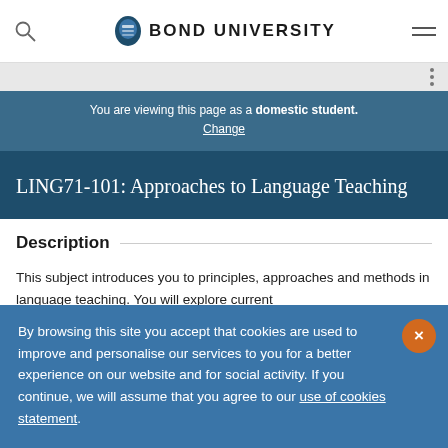Bond University
You are viewing this page as a domestic student. Change
LING71-101: Approaches to Language Teaching
Description
This subject introduces you to principles, approaches and methods in language teaching. You will explore current
By browsing this site you accept that cookies are used to improve and personalise our services to you for a better experience on our website and for social activity. If you continue, we will assume that you agree to our use of cookies statement.